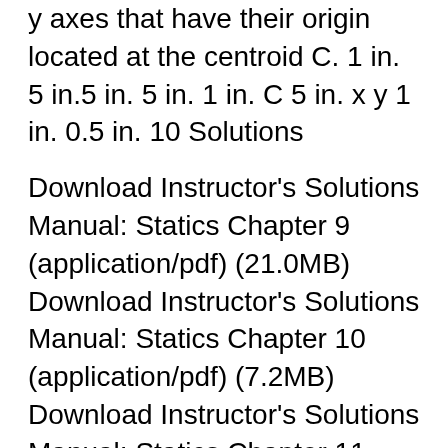y axes that have their origin located at the centroid C. 1 in. 5 in.5 in. 5 in. 1 in. C 5 in. x y 1 in. 0.5 in. 10 Solutions
Download Instructor's Solutions Manual: Statics Chapter 9 (application/pdf) (21.0MB) Download Instructor's Solutions Manual: Statics Chapter 10 (application/pdf) (7.2MB) Download Instructor's Solutions Manual: Statics Chapter 11 (application/pdf) (3.2MB) Download Errata - PDF (application/zip) (0.1MB) Mastering Engineering without Pearson eText -- Instructor Access Code, 12th Edition 22/10/2014B B· In this video we learn how to determine the Area Moment of Inertia of a body, learn the parrallel-axis theorem, show the